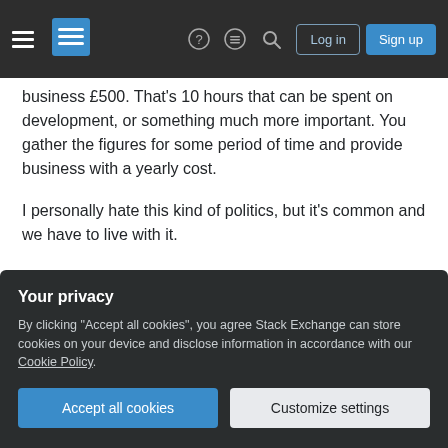Stack Exchange navigation header with logo, icons, Log in and Sign up buttons
business £500. That's 10 hours that can be spent on development, or something much more important. You gather the figures for some period of time and provide business with a yearly cost.

I personally hate this kind of politics, but it's common and we have to live with it.
Share
Improve this answer
Follow
answered Aug 29, 2013 at 20:55
CodeART
3,912 ●1 ●19 ●23
Your privacy
By clicking "Accept all cookies", you agree Stack Exchange can store cookies on your device and disclose information in accordance with our Cookie Policy.
Accept all cookies
Customize settings